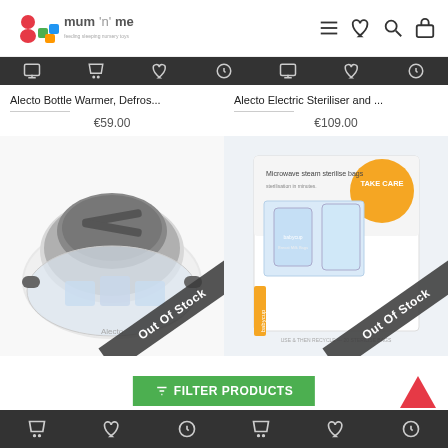mum'n'me — navigation header with hamburger menu, heart, search, and cart icons
[Figure (screenshot): Dark toolbar strip with cart, heart, and return icons]
Alecto Bottle Warmer, Defros...
€59.00
Alecto Electric Steriliser and ...
€109.00
[Figure (photo): Alecto Electric Steriliser product photo — white round steriliser device with grey top. Diagonal 'Out Of Stock' banner overlay.]
[Figure (photo): Babycup Microwave steam sterilise bags product box photo. Diagonal 'Out Of Stock' banner overlay.]
≡FILTER PRODUCTS
Bottom toolbar with cart, heart, return icons and back-to-top arrow